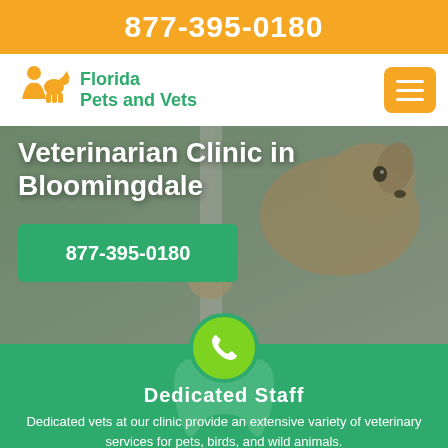877-395-0180
Florida Pets and Vets
[Figure (photo): Dog looking through a window/door, brown and white Jack Russell terrier, blurred indoor background]
Veterinarian Clinic in Bloomingdale
877-395-0180
Dedicated Staff
Dedicated vets at our clinic provide an extensive variety of veterinary services for pets, birds, and wild animals.